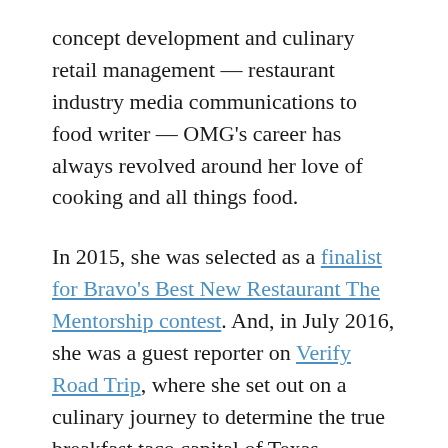concept development and culinary retail management — restaurant industry media communications to food writer — OMG's career has always revolved around her love of cooking and all things food.
In 2015, she was selected as a finalist for Bravo's Best New Restaurant The Mentorship contest. And, in July 2016, she was a guest reporter on Verify Road Trip, where she set out on a culinary journey to determine the true breakfast taco capital of Texas — documenting every step in her food blog, OMG's DFW Food. In 2018, she was invited back to co-host, judge and consult on Verify's Golden Tamale segment.